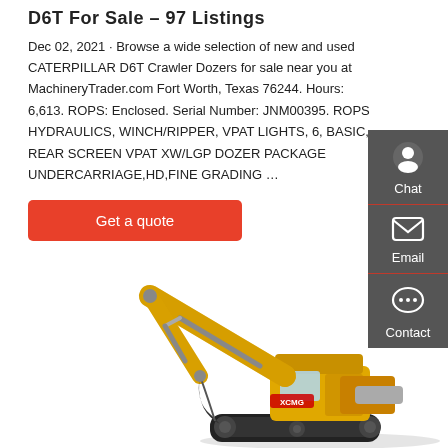D6T For Sale - 97 Listings
Dec 02, 2021 · Browse a wide selection of new and used CATERPILLAR D6T Crawler Dozers for sale near you at MachineryTrader.com Fort Worth, Texas 76244. Hours: 6,613. ROPS: Enclosed. Serial Number: JNM00395. ROPS HYDRAULICS, WINCH/RIPPER, VPAT LIGHTS, 6, BASIC, REAR SCREEN VPAT XW/LGP DOZER PACKAGE UNDERCARRIAGE,HD,FINE GRADING …
[Figure (other): Red 'Get a quote' button]
[Figure (other): Sidebar with Chat, Email, and Contact icons on dark grey background]
[Figure (photo): Yellow XCMG excavator on white background]